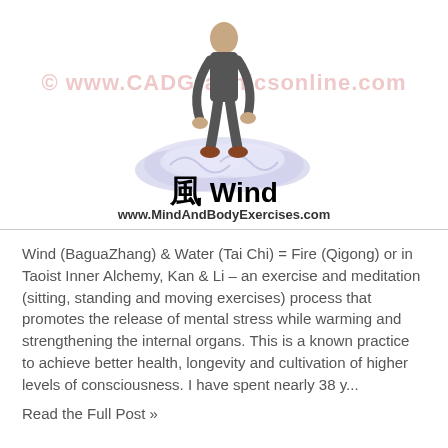[Figure (illustration): 3D rendered figure of a person performing a martial arts or qigong pose on stylized wind/cloud elements, with a watermark overlay reading '© www.CADGraphicsonline.com']
風 Wind
www.MindAndBodyExercises.com
Wind (BaguaZhang) & Water (Tai Chi) = Fire (Qigong) or in Taoist Inner Alchemy, Kan & Li – an exercise and meditation (sitting, standing and moving exercises) process that promotes the release of mental stress while warming and strengthening the internal organs. This is a known practice to achieve better health, longevity and cultivation of higher levels of consciousness. I have spent nearly 38 y...
Read the Full Post »